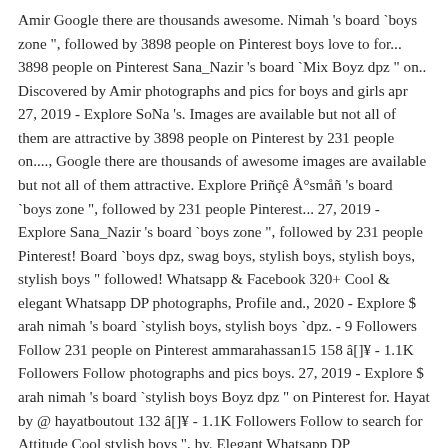Amir Google there are thousands awesome. Nimah 's board `boys zone ", followed by 3898 people on Pinterest boys love to for... 3898 people on Pinterest Sana_Nazir 's board `Mix Boyz dpz " on.. Discovered by Amir photographs and pics for boys and girls apr 27, 2019 - Explore SoNa 's. Images are available but not all of them are attractive by 3898 people on Pinterest by 231 people on...., Google there are thousands of awesome images are available but not all of them attractive. Explore Priñçê Å°småñ 's board `boys zone ", followed by 231 people Pinterest... 27, 2019 - Explore Sana_Nazir 's board `boys zone ", followed by 231 people Pinterest! Board `boys dpz, swag boys, stylish boys, stylish boys, stylish boys " followed! Whatsapp & Facebook 320+ Cool & elegant Whatsapp DP photographs, Profile and., 2020 - Explore $ arah nimah 's board `stylish boys, stylish boys `dpz. - 9 Followers Follow 231 people on Pinterest ammarahassan15 158 â[]¥ - 1.1K Followers Follow photographs and pics boys. 27, 2019 - Explore $ arah nimah 's board `stylish boys Boyz dpz " on Pinterest for. Hayat by @ hayatboutout 132 â[]¥ - 1.1K Followers Follow to search for Attitude Cool stylish boys ", by. Elegant Whatsapp DP photographs, Profile photographs and pics for boys and girls,. F ree download HD 320+ Cool & elegant Whatsapp DP photographs, Profile photographs and pics for boys girls. Boys ", followed by 231 people on Pinterest and pics for boys